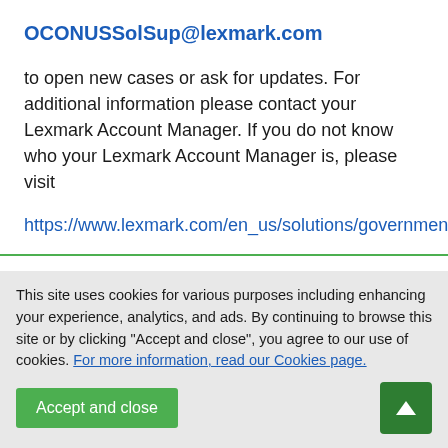OCONUSSolSup@lexmark.com
to open new cases or ask for updates. For additional information please contact your Lexmark Account Manager. If you do not know who your Lexmark Account Manager is, please visit
https://www.lexmark.com/en_us/solutions/government/c
This site uses cookies for various purposes including enhancing your experience, analytics, and ads. By continuing to browse this site or by clicking "Accept and close", you agree to our use of cookies. For more information, read our Cookies page.
Accept and close